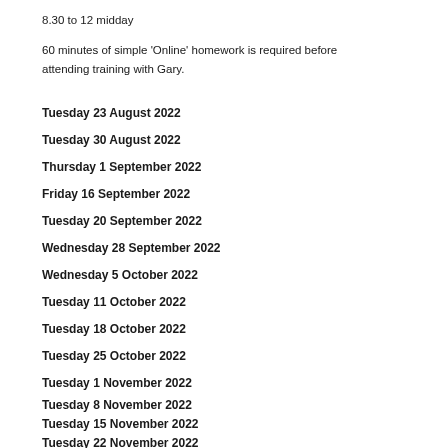8.30 to 12 midday
60 minutes of simple 'Online' homework is required before attending training with Gary.
Tuesday 23 August 2022
Tuesday 30 August 2022
Thursday 1 September 2022
Friday 16 September 2022
Tuesday 20 September 2022
Wednesday 28 September 2022
Wednesday 5 October 2022
Tuesday 11 October 2022
Tuesday 18 October 2022
Tuesday 25 October 2022
Tuesday 1 November 2022
Tuesday 8 November 2022
Tuesday 15 November 2022
Tuesday 22 November 2022